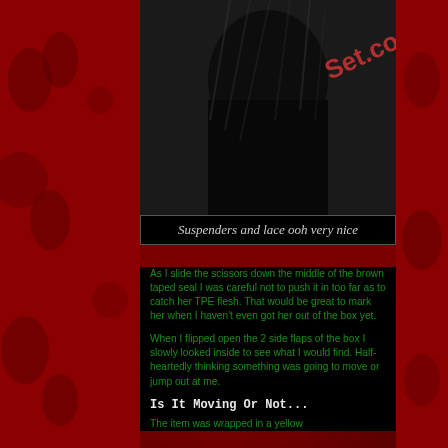[Figure (photo): A dark photo of a person with hair/costume. Watermark text 'Set.com' visible in red/pink.]
Suspenders and lace ooh very nice
As I slide the scissors down the middle of the brown taped seal I was careful not to push it in too far as to catch her TPE flesh. That would be great to mark her when I haven't even got her out of the box yet.
When I flipped open the 2 side flaps of the box I slowly looked inside to see what I would find. Half-heartedly thinking something was going to move or jump out at me.
Is It Moving Or Not...
The item was wrapped in a yellow